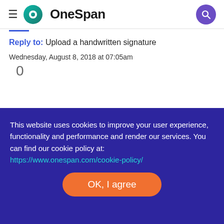OneSpan
Reply to: Upload a handwritten signature
Wednesday, August 8, 2018 at 07:05am
0
This website uses cookies to improve your user experience, functionality and performance and render our services. You can find our cookie policy at: https://www.onespan.com/cookie-policy/
OK, I agree